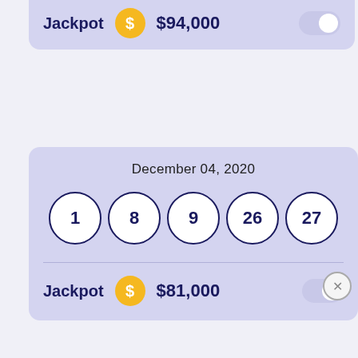Jackpot $94,000
December 04, 2020
1 8 9 26 27
Jackpot $81,000
December 03, 2020
[Figure (screenshot): Disney Bundle advertisement banner with Hulu, Disney+, ESPN+ logos and GET THE DISNEY BUNDLE call to action button]